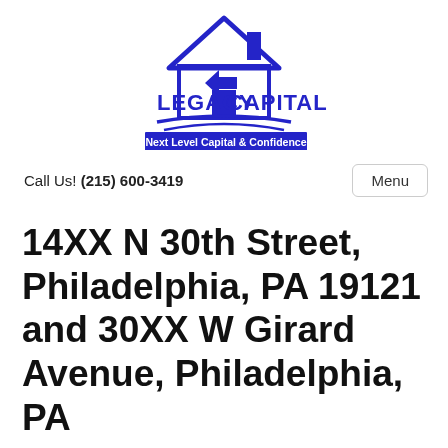[Figure (logo): Legacy Capital logo — house outline with arrow pointing left, text 'LEGACY CAPITAL' in bold blue, blue banner below reading 'Next Level Capital & Confidence']
Call Us! (215) 600-3419
Menu
14XX N 30th Street, Philadelphia, PA 19121 and 30XX W Girard Avenue, Philadelphia, PA 19130